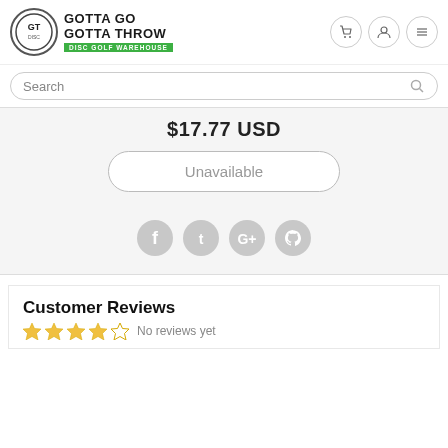[Figure (logo): Gotta Go Gotta Throw Disc Golf Warehouse logo with circular emblem and green banner]
Search
$17.77 USD
Unavailable
[Figure (infographic): Social share icons: Facebook, Twitter, Google+, Pinterest]
Customer Reviews
No reviews yet